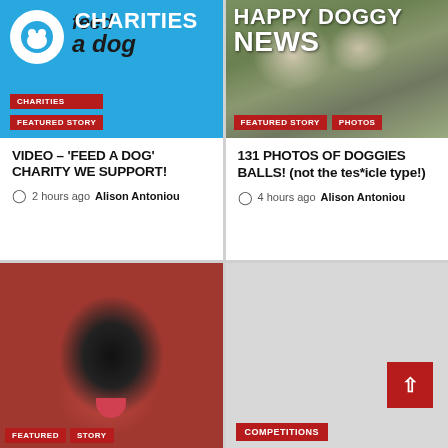[Figure (photo): Blue banner with 'feed a dog' logo, CHARITIES and FEATURED STORY tags]
VIDEO – 'FEED A DOG' CHARITY WE SUPPORT!
2 hours ago Alison Antoniou
[Figure (photo): Photo of dogs outdoors with HAPPY DOGGY NEWS overlay, FEATURED STORY and PHOTOS tags]
131 PHOTOS OF DOGGIES BALLS! (not the tes*icle type!)
4 hours ago Alison Antoniou
[Figure (photo): Close-up photo of a black shaggy dog with tongue out]
[Figure (photo): Gray placeholder image with red scroll-to-top button and COMPETITIONS tag]